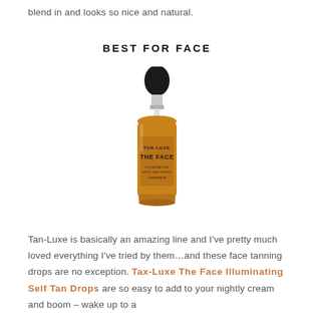blend in and looks so nice and natural.
BEST FOR FACE
[Figure (photo): Tan-Luxe The Face Illuminating Self-Tan Drops product bottle with dropper, amber/orange colored liquid, silver and black dropper cap, white background]
Tan-Luxe is basically an amazing line and I've pretty much loved everything I've tried by them…and these face tanning drops are no exception. Tax-Luxe The Face Illuminating Self Tan Drops are so easy to add to your nightly cream and boom – wake up to a